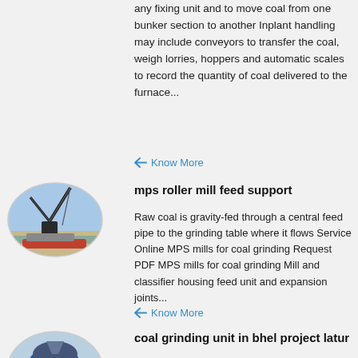any fixing unit and to move coal from one bunker section to another Inplant handling may include conveyors to transfer the coal, weigh lorries, hoppers and automatic scales to record the quantity of coal delivered to the furnace...
Know More
[Figure (photo): Oval-cropped photo of industrial crane/equipment at a coastal or port site]
mps roller mill feed support
Raw coal is gravity-fed through a central feed pipe to the grinding table where it flows Service Online MPS mills for coal grinding Request PDF MPS mills for coal grinding Mill and classifier housing feed unit and expansion joints...
Know More
[Figure (photo): Oval-cropped photo of a blue industrial grinding or milling machine/unit]
coal grinding unit in bhel project latur
Grinding unit for pelletisation project coal grinding unit in bhel project latur sbm ball